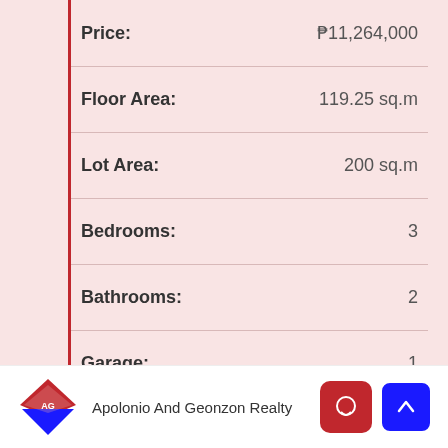| Property Detail | Value |
| --- | --- |
| Price: | ₱11,264,000 |
| Floor Area: | 119.25 sq.m |
| Lot Area: | 200 sq.m |
| Bedrooms: | 3 |
| Bathrooms: | 2 |
| Garage: | 1 |
| Property Type: | House and Lot |
Apolonio And Geonzon Realty